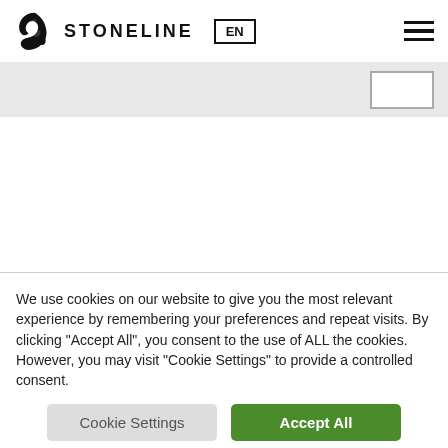[Figure (logo): Stoneline brand logo with flame/S symbol and text STONELINE, language selector EN in a box, and hamburger menu icon]
[Figure (screenshot): Gray navigation/filter bar with a white rectangular button on the right side]
We use cookies on our website to give you the most relevant experience by remembering your preferences and repeat visits. By clicking "Accept All", you consent to the use of ALL the cookies. However, you may visit "Cookie Settings" to provide a controlled consent.
Cookie Settings
Accept All